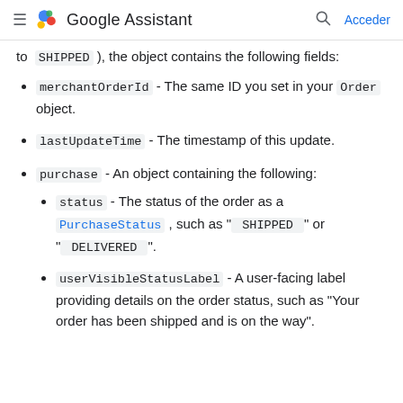Google Assistant — Acceder
to `SHIPPED`), the object contains the following fields:
merchantOrderId - The same ID you set in your Order object.
lastUpdateTime - The timestamp of this update.
purchase - An object containing the following:
status - The status of the order as a PurchaseStatus, such as " SHIPPED " or " DELIVERED ".
userVisibleStatusLabel - A user-facing label providing details on the order status, such as "Your order has been shipped and is on the way".